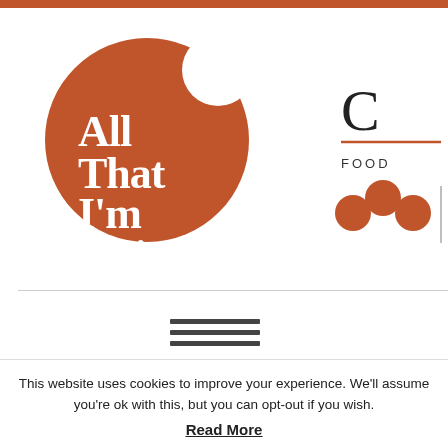[Figure (logo): All That I'm Eating. logo — white serif text on a rust/terracotta orange circle with a bite taken out of the top-right]
[Figure (logo): Partial right-side panel showing the letter C, a rust underline, the text FOOD, and three overlapping orange circles icon]
[Figure (other): Hamburger menu icon — three horizontal dark grey bars]
MY FAVOURITE RECIPES OF
This website uses cookies to improve your experience. We'll assume you're ok with this, but you can opt-out if you wish.
Read More